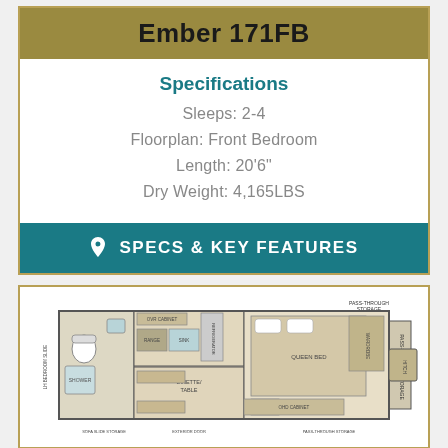Ember 171FB
Specifications
Sleeps: 2-4
Floorplan: Front Bedroom
Length: 20'6"
Dry Weight: 4,165LBS
SPECS & KEY FEATURES
[Figure (engineering-diagram): RV floorplan top-down diagram for Ember 171FB showing bathroom, kitchen, bedroom with queen bed, dinette, and passthrough storage areas with labeled components.]